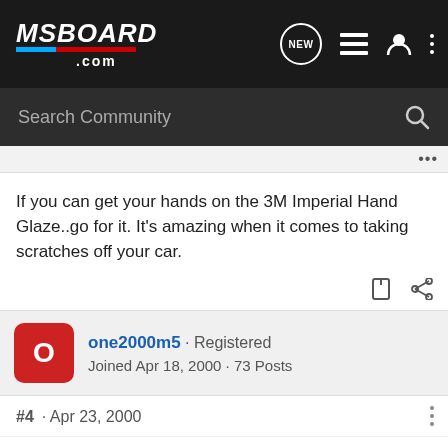MSBOARD .com
If you can get your hands on the 3M Imperial Hand Glaze..go for it. It's amazing when it comes to taking scratches off your car.
one2000m5 · Registered
Joined Apr 18, 2000 · 73 Posts
#4 · Apr 23, 2000
Thumbs up for Zymol. I had Red 89 M3, a hard color to keep